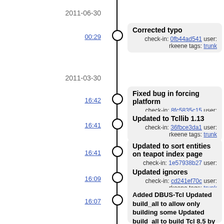2011-06-30
00:29
Corrected typo
check-in: 0fb44ad541 user: rkeene tags: trunk
2011-03-30
16:42
Fixed bug in forcing platform
check-in: 8fc5835c15 user: rkeene tags: trunk
16:41
Updated to Tcllib 1.13
check-in: 36fbce3da1 user: rkeene tags: trunk
16:41
Updated to sort entities on teapot index page
check-in: 1e57938b27 user: rkeene tags: trunk
16:09
Updated ignores
check-in: cd241ef70c user: rkeene tags: trunk
16:07
Added DBUS-Tcl Updated build_all to allow only building some Updated build_all to build Tcl 8.5 by default Updated the "dict" package to not attempt to build if not using Tcl 8.4
check-in: d9990833ed user: rkeene tags: trunk